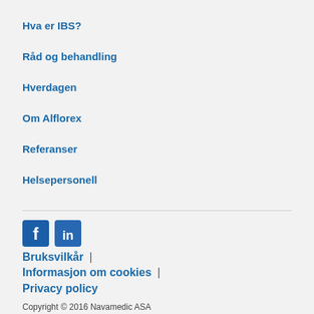Hva er IBS?
Råd og behandling
Hverdagen
Om Alflorex
Referanser
Helsepersonell
[Figure (logo): Facebook and LinkedIn social media icons]
Bruksvilkår | Informasjon om cookies | Privacy policy
Copyright © 2016 Navamedic ASA